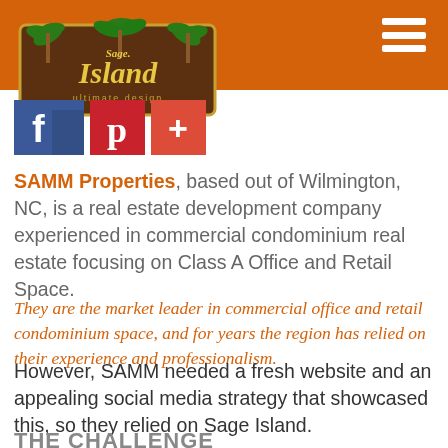Sage Island header bar with logo and hamburger menu
[Figure (logo): Sage Island Ultimate Design logo with palm trees and stylized text]
[Figure (infographic): Social media icons: Facebook, Pinterest, Google+]
SAMM Properties, based out of Wilmington, NC, is a real estate development company experienced in commercial condominium real estate focusing on Class A Office and Retail Space.
They are the market leader in commercial office and retail condominium space, and for years the region has relied on their experience and professionalism.
However, SAMM needed a fresh website and an appealing social media strategy that showcased this, so they relied on Sage Island.
THE CHALLENGE